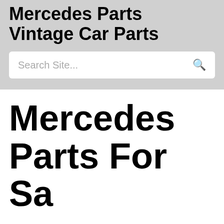Mercedes Parts Vintage Car Parts
Search Site...
Mercedes Parts For Sa...